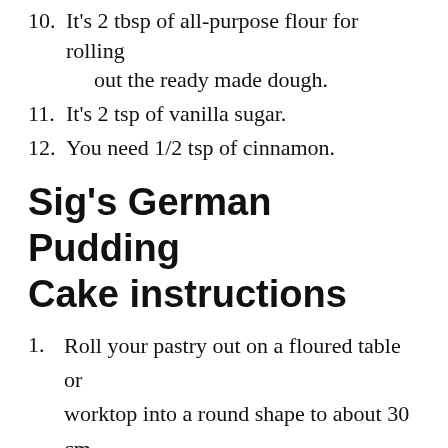10. It's 2 tbsp of all-purpose flour for rolling out the ready made dough.
11. It's 2 tsp of vanilla sugar.
12. You need 1/2 tsp of cinnamon.
Sig's German Pudding Cake instructions
1. Roll your pastry out on a floured table or worktop into a round shape to about 30 cm, if this is not sweet pastry sprinkle with a little sugar..